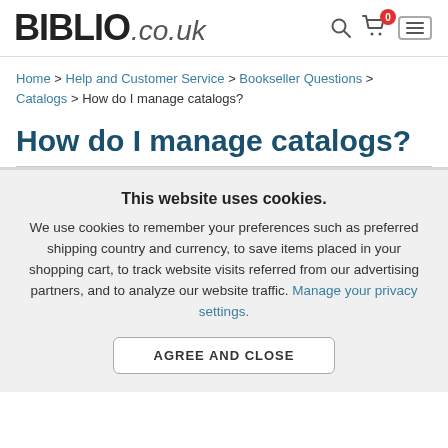BIBLIO.co.uk
Home > Help and Customer Service > Bookseller Questions > Catalogs > How do I manage catalogs?
How do I manage catalogs?
This website uses cookies.
We use cookies to remember your preferences such as preferred shipping country and currency, to save items placed in your shopping cart, to track website visits referred from our advertising partners, and to analyze our website traffic. Manage your privacy settings.
AGREE AND CLOSE